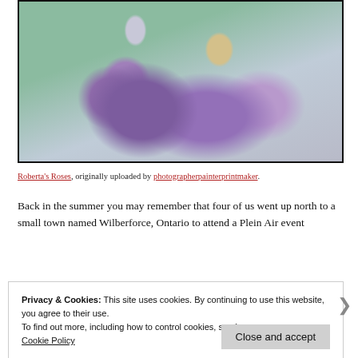[Figure (illustration): Watercolor painting of purple roses/flowers with green stem, soft washes of violet and mauve on grey-blue background, framed with black border]
Roberta's Roses, originally uploaded by photographerpainterprintmaker.
Back in the summer you may remember that four of us went up north to a small town named Wilberforce, Ontario to attend a Plein Air event
Privacy & Cookies: This site uses cookies. By continuing to use this website, you agree to their use.
To find out more, including how to control cookies, see here:
Cookie Policy
Close and accept